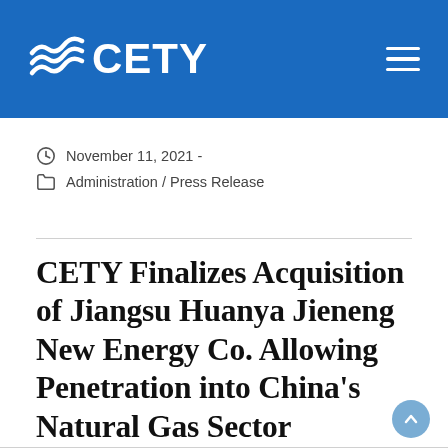CETY
November 11, 2021 -
Administration / Press Release
CETY Finalizes Acquisition of Jiangsu Huanya Jieneng New Energy Co. Allowing Penetration into China's Natural Gas Sector